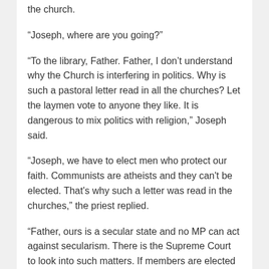the church.
“Joseph, where are you going?”
“To the library, Father. Father, I don’t understand why the Church is interfering in politics. Why is such a pastoral letter read in all the churches? Let the laymen vote to anyone they like. It is dangerous to mix politics with religion,” Joseph said.
“Joseph, we have to elect men who protect our faith. Communists are atheists and they can’t be elected. That’s why such a letter was read in the churches,” the priest replied.
“Father, ours is a secular state and no MP can act against secularism. There is the Supreme Court to look into such matters. If members are elected on the basis of religion rather than their merits, the parliament will be a pandemonium of religious fanatics. Parliament is a place to discuss national issues,” Joseph retorted.
“I am none to argument with you, Joseph. I was asked